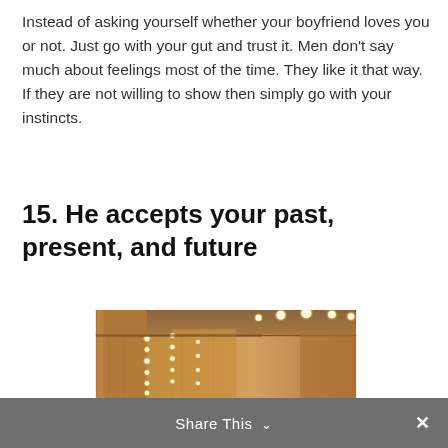Instead of asking yourself whether your boyfriend loves you or not. Just go with your gut and trust it. Men don't say much about feelings most of the time. They like it that way. If they are not willing to show then simply go with your instincts.
15. He accepts your past, present, and future
[Figure (photo): Indoor photo showing draped curtains with warm string lights hanging in strands, ceiling visible with globe string lights across the top. Warm amber/orange tones.]
Share This ∨  ×